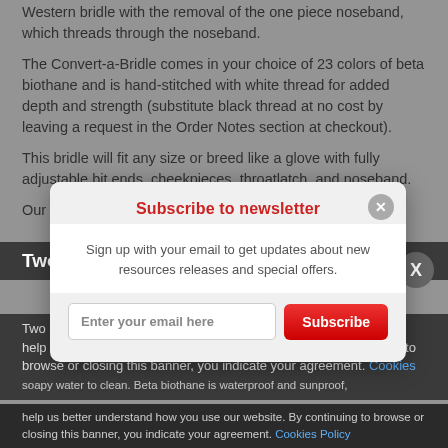Western bridle with the removal of the one piece noseband, which threads through the noseband.
The Convert-a-Bridle comes in your choice of 23 colors of beta biothane and is hand-stitched with white thread for added depth and strength (substitute black thread at no cost by leaving a request in the Order Notes section at checkout).
This bridle will fit any size or breed like a glove with fully adjustable bit ends, cheekpieces, throatlatch, and noseband.
Our...
Two...
Two h... customs... help us better understand how you use our website. By continuing to browse or closing this banner, you indicate your agreement.
soapy water to clean. Beta biothane is waterproof and sunproof,
[Figure (screenshot): Newsletter subscribe modal popup with title 'Subscribe to newsletter', input field 'Enter your email here', and red Subscribe button]
help us better understand how you use our website. By continuing to browse or closing this banner, you indicate your agreement. Cookies Policy